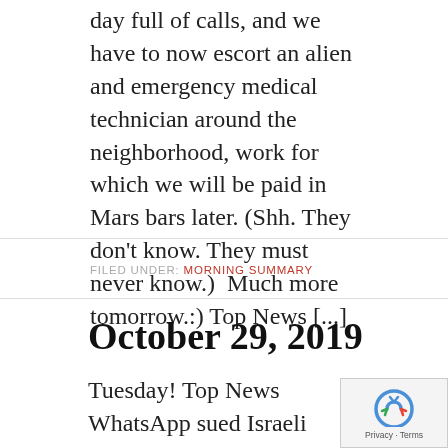day full of calls, and we have to now escort an alien and emergency medical technician around the neighborhood, work for which we will be paid in Mars bars later. (Shh. They don't know. They must never know.)  Much more tomorrow.:) Top News [...]
FILED UNDER: MORNING SUMMARY
October 29, 2019
Tuesday! Top News WhatsApp sued Israeli surveillance firm NSO